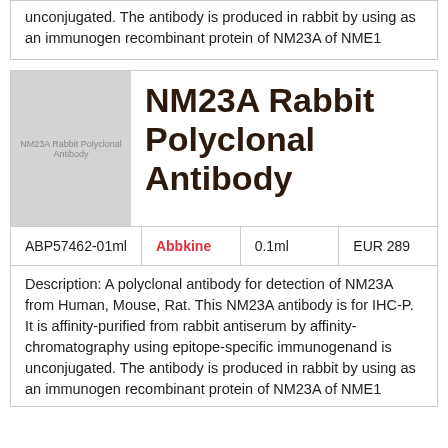unconjugated. The antibody is produced in rabbit by using as an immunogen recombinant protein of NM23A of NME1
[Figure (photo): NM23A Rabbit Polyclonal Antibody product image placeholder (gray square with text label)]
NM23A Rabbit Polyclonal Antibody
| ABP57462-01ml | Abbkine | 0.1ml | EUR 289 |
| --- | --- | --- | --- |
Description: A polyclonal antibody for detection of NM23A from Human, Mouse, Rat. This NM23A antibody is for IHC-P. It is affinity-purified from rabbit antiserum by affinity-chromatography using epitope-specific immunogenand is unconjugated. The antibody is produced in rabbit by using as an immunogen recombinant protein of NM23A of NME1